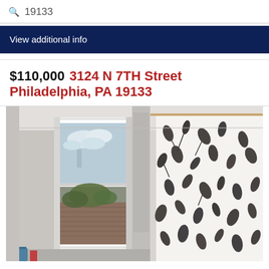19133
View additional info
$110,000 3124 N 7TH Street Philadelphia, PA 19133
[Figure (photo): Interior bathroom photo showing a tall narrow double-hung window with white trim revealing a cloudy sky and brick building view, and a white and dark-leafed shower curtain on a rod to the right. Walls are light gray/white.]